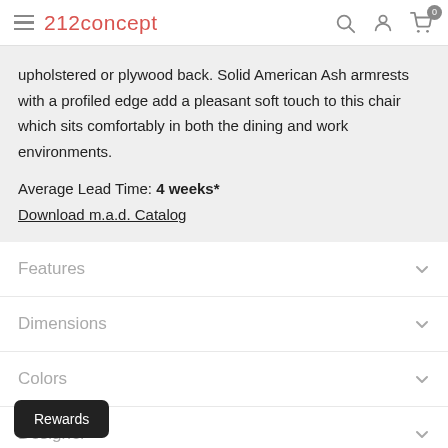212concept — navigation header with hamburger menu, logo, search, account, and cart icons
upholstered or plywood back. Solid American Ash armrests with a profiled edge add a pleasant soft touch to this chair which sits comfortably in both the dining and work environments.

Average Lead Time: 4 weeks*
Download m.a.d. Catalog
Features
Dimensions
Colors
Designer
Rewards